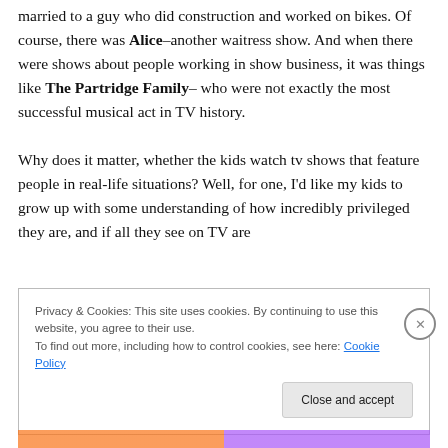married to a guy who did construction and worked on bikes. Of course, there was Alice–another waitress show. And when there were shows about people working in show business, it was things like The Partridge Family–who were not exactly the most successful musical act in TV history.

Why does it matter, whether the kids watch tv shows that feature people in real-life situations? Well, for one, I'd like my kids to grow up with some understanding of how incredibly privileged they are, and if all they see on TV are
Privacy & Cookies: This site uses cookies. By continuing to use this website, you agree to their use.
To find out more, including how to control cookies, see here: Cookie Policy